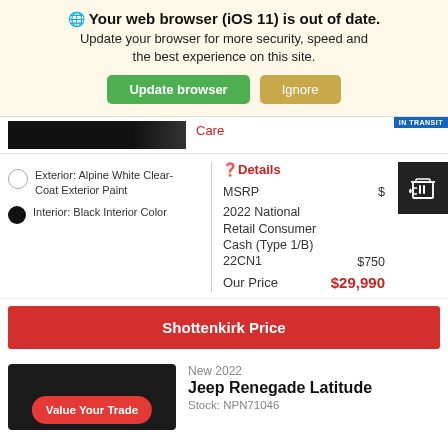🌐 Your web browser (iOS 11) is out of date. Update your browser for more security, speed and the best experience on this site.
Update browser | Ignore
Care
Exterior: Alpine White Clear-Coat Exterior Paint
Interior: Black Interior Color
❓Details
MSRP $
2022 National Retail Consumer Cash (Type 1/B) 22CN1 $750
Our Price $29,990
Shottenkirk Price
Value Your Trade
New 2022
Jeep Renegade Latitude
Stock: NPN71046